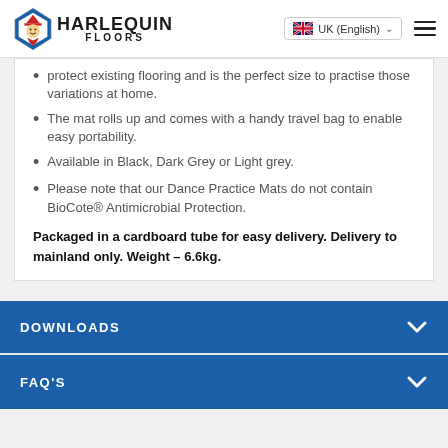Harlequin Floors — UK (English) navigation header
protect existing flooring and is the perfect size to practise those variations at home.
The mat rolls up and comes with a handy travel bag to enable easy portability.
Available in Black, Dark Grey or Light grey.
Please note that our Dance Practice Mats do not contain BioCote® Antimicrobial Protection.
Packaged in a cardboard tube for easy delivery. Delivery to mainland only. Weight – 6.6kg.
DOWNLOADS
FAQ'S